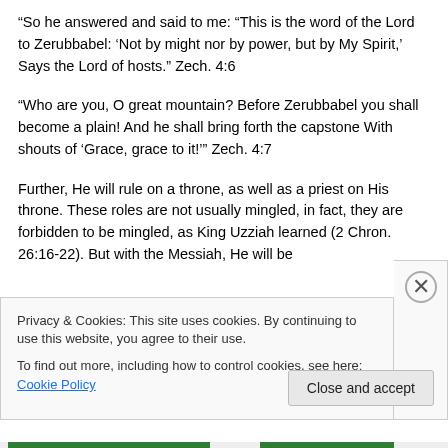“So he answered and said to me: “This is the word of the Lord to Zerubbabel: ‘Not by might nor by power, but by My Spirit,’ Says the Lord of hosts.” Zech. 4:6
“Who are you, O great mountain? Before Zerubbabel you shall become a plain! And he shall bring forth the capstone With shouts of ‘Grace, grace to it!’” Zech. 4:7
Further, He will rule on a throne, as well as a priest on His throne. These roles are not usually mingled, in fact, they are forbidden to be mingled, as King Uzziah learned (2 Chron. 26:16-22). But with the Messiah, He will be
Privacy & Cookies: This site uses cookies. By continuing to use this website, you agree to their use.
To find out more, including how to control cookies, see here: Cookie Policy
Close and accept